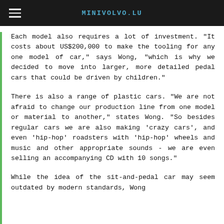MINIVOLVO.LU
Each model also requires a lot of investment. "It costs about US$200,000 to make the tooling for any one model of car," says Wong, "which is why we decided to move into larger, more detailed pedal cars that could be driven by children."
There is also a range of plastic cars. "We are not afraid to change our production line from one model or material to another," states Wong. "So besides regular cars we are also making 'crazy cars', and even 'hip-hop' roadsters with 'hip-hop' wheels and music and other appropriate sounds - we are even selling an accompanying CD with 10 songs."
While the idea of the sit-and-pedal car may seem outdated by modern standards, Wong